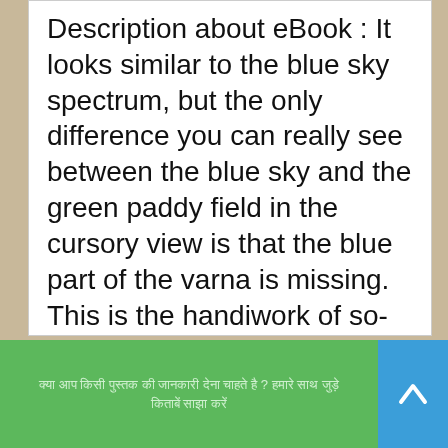Description about eBook : It looks similar to the blue sky spectrum, but the only difference you can really see between the blue sky and the green paddy field in the cursory view is that the blue part of the varna is missing. This is the handiwork of so-called carotenoid pigments that exist. The rest of the spectrum looks almost the same. But if you look very carefully ……….
44 Books पर उपलब्ध सभी हिन्दी पुस्तकों सूचीबद्ध को यहाँ – हिन्दी पुस्तकें
क्या आप किसी पुस्तक की जानकारी देना चाहते है ? हमारे साथ जुड़े किताबें साझा करें